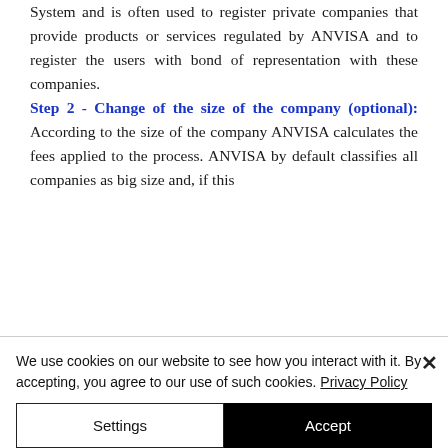System and is often used to register private companies that provide products or services regulated by ANVISA and to register the users with bond of representation with these companies. Step 2 - Change of the size of the company (optional): According to the size of the company ANVISA calculates the fees applied to the process. ANVISA by default classifies all companies as big size and, if this
We use cookies on our website to see how you interact with it. By accepting, you agree to our use of such cookies. Privacy Policy
Settings
Accept